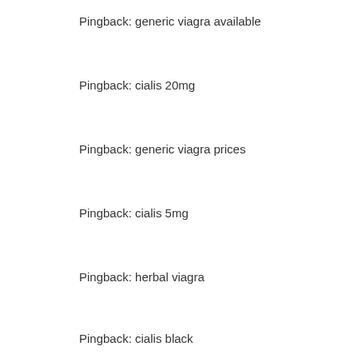Pingback: generic viagra available
Pingback: cialis 20mg
Pingback: generic viagra prices
Pingback: cialis 5mg
Pingback: herbal viagra
Pingback: cialis black